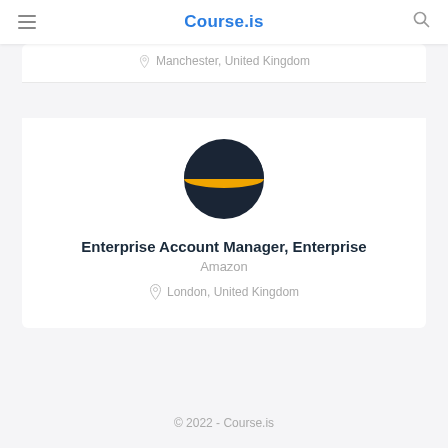Course.is
Manchester, United Kingdom
[Figure (logo): Amazon logo: dark navy circle with an orange horizontal band across the center]
Enterprise Account Manager, Enterprise
Amazon
London, United Kingdom
© 2022 - Course.is